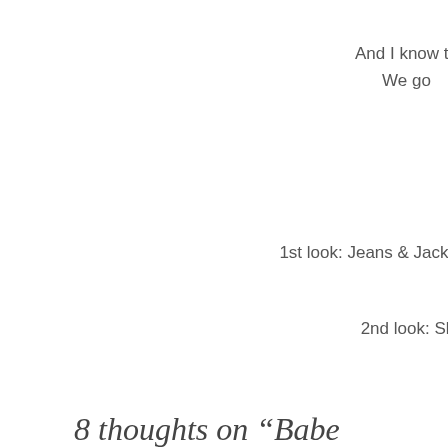And I know th
We go
1st look: Jeans & Jacke
2nd look: Ski
8 thoughts on “Babe